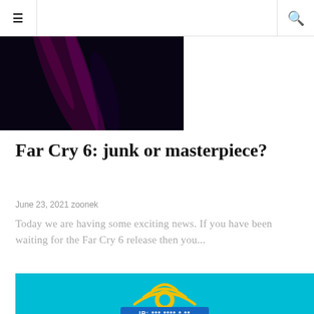≡  🔍
[Figure (photo): Dark moody image with purple/magenta light streaks on dark background, partially visible at top of page]
Far Cry 6: junk or masterpiece?
June 23, 2021 zoonek
Today we are having some exciting news. If you have been waiting for the Far Cry 6 release then you...
[Figure (illustration): VPN illustration on cyan/teal background featuring a yellow WiFi/lock icon with concentric signal arcs and a dark blue banner showing 'IP: ***.**** *.** ']